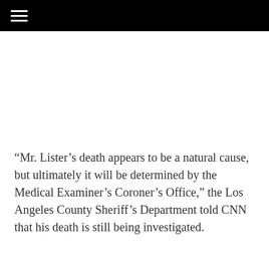“Mr. Lister’s death appears to be a natural cause, but ultimately it will be determined by the Medical Examiner’s Coroner’s Office,” the Los Angeles County Sheriff’s Department told CNN that his death is still being investigated.